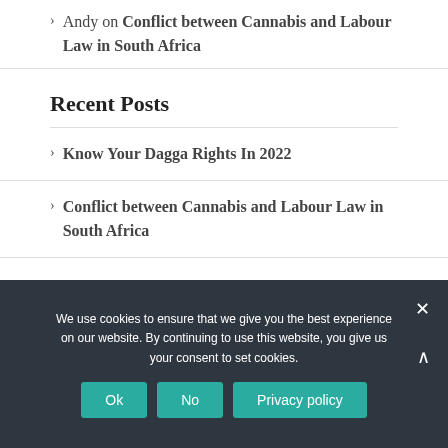Andy on Conflict between Cannabis and Labour Law in South Africa
Recent Posts
Know Your Dagga Rights In 2022
Conflict between Cannabis and Labour Law in South Africa
We use cookies to ensure that we give you the best experience on our website. By continuing to use this website, you give us your consent to set cookies. Ok No Privacy policy